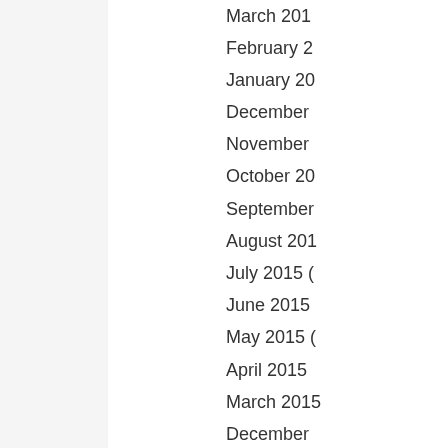March 201…
February 2…
January 20…
December …
November …
October 20…
September …
August 201…
July 2015 (…
June 2015 …
May 2015 (…
April 2015 …
March 2015…
December …
November …
October 20…
September …
August 201…
July 2014 (…